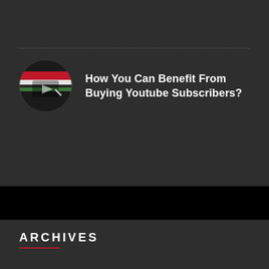[Figure (illustration): Circular thumbnail image with red, white, and dark horizontal stripes and overlaid icon, representing a YouTube-related blog post thumbnail]
How You Can Benefit From Buying Youtube Subscribers?
ARCHIVES
August 2022
July 2022